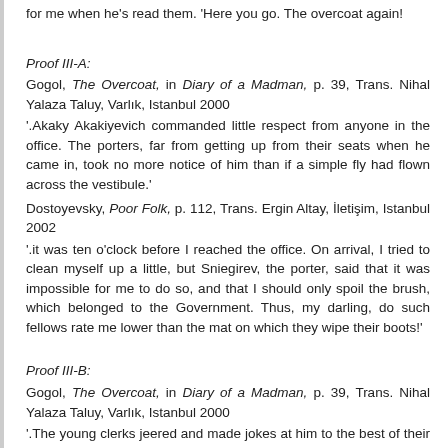for me when he's read them. 'Here you go. The overcoat again!'
Proof III-A:
Gogol, The Overcoat, in Diary of a Madman, p. 39, Trans. Nihal Yalaza Taluy, Varlık, Istanbul 2000
'.Akaky Akakiyevich commanded little respect from anyone in the office. The porters, far from getting up from their seats when he came in, took no more notice of him than if a simple fly had flown across the vestibule.'
Dostoyevsky, Poor Folk, p. 112, Trans. Ergin Altay, İletişim, Istanbul 2002
'.it was ten o'clock before I reached the office. On arrival, I tried to clean myself up a little, but Sniegirev, the porter, said that it was impossible for me to do so, and that I should only spoil the brush, which belonged to the Government. Thus, my darling, do such fellows rate me lower than the mat on which they wipe their boots!'
Proof III-B:
Gogol, The Overcoat, in Diary of a Madman, p. 39, Trans. Nihal Yalaza Taluy, Varlık, Istanbul 2000
'.The young clerks jeered and made jokes at him to the best of their clerkly wit, [.] Akaky Akakyevich never answered a word, however, but behaved as though there were no one there. It had no influence on his work even; in the midst of all this teasing, he never made a single mistake in his copying.'
Dostoyevsky, Poor Folk, p. 131, Trans. Ergin Altay, İletişim,